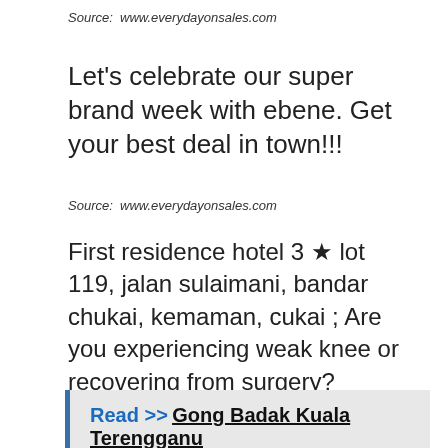Source: www.everydayonsales.com
Let’s celebrate our super brand week with ebene. Get your best deal in town!!!
Source: www.everydayonsales.com
First residence hotel 3 ★ lot 119, jalan sulaimani, bandar chukai, kemaman, cukai ; Are you experiencing weak knee or recovering from surgery?
Read >> Gong Badak Kuala Terengganu